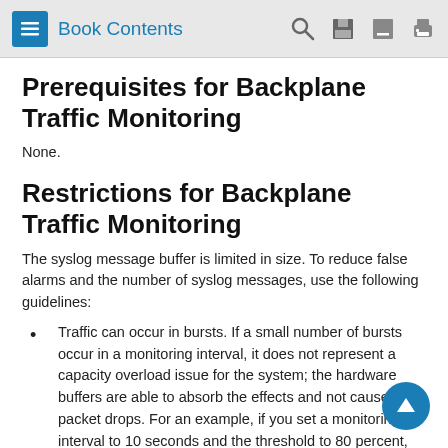Book Contents
Prerequisites for Backplane Traffic Monitoring
None.
Restrictions for Backplane Traffic Monitoring
The syslog message buffer is limited in size. To reduce false alarms and the number of syslog messages, use the following guidelines:
Traffic can occur in bursts. If a small number of bursts occur in a monitoring interval, it does not represent a capacity overload issue for the system; the hardware buffers are able to absorb the effects and not cause packet drops. For an example, if you set a monitoring interval to 10 seconds and the threshold to 80 percent, there are a total of 10 traffic utilization readings. And only 2 of the readings reached 90 percent and the other